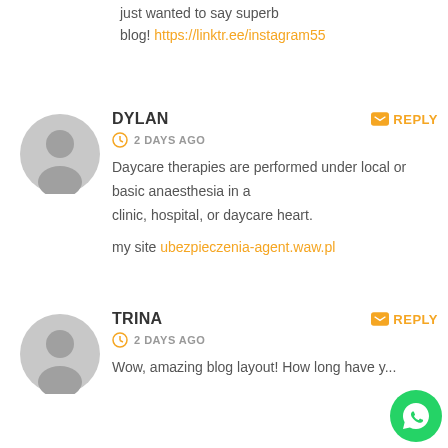just wanted to say superb blog! https://linktr.ee/instagram55
DYLAN
2 DAYS AGO
Daycare therapies are performed under local or basic anaesthesia in a clinic, hospital, or daycare heart.
my site ubezpieczenia-agent.waw.pl
TRINA
2 DAYS AGO
Wow, amazing blog layout! How long have y...